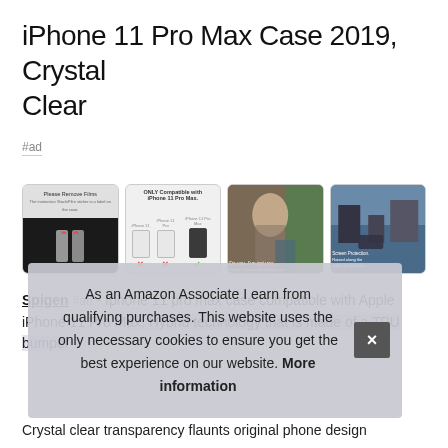iPhone 11 Pro Max Case 2019, Crystal Clear
#ad
[Figure (photo): Four product thumbnail images showing: 1) Please Remove Films instruction with hands peeling film, 2) ONLY Compatible with iPhone 11 Pro Max showing three phone models with X marks and checkmark, 3) Woman using phone outdoors, 4) Hand holding phone taking photo of cityscape]
Spigen #ad - Iphone 11 pro max case compatible with Apple iPhone 11 Pro Max. Hybrid technology that is made of a TPU bumper...
As an Amazon Associate I earn from qualifying purchases. This website uses the only necessary cookies to ensure you get the best experience on our website. More information
Crystal clear transparency flaunts original phone design